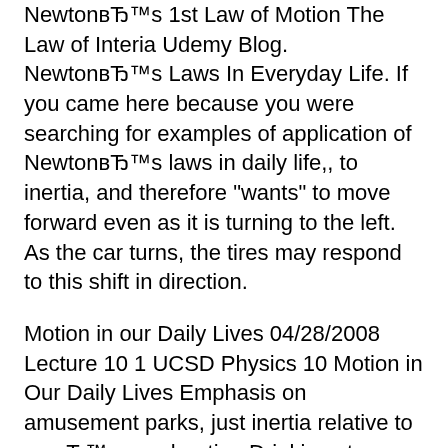NewtonвЂ™s 1st Law of Motion The Law of Interia Udemy Blog. NewtonвЂ™s Laws In Everyday Life. If you came here because you were searching for examples of application of NewtonвЂ™s laws in daily life,, to inertia, and therefore "wants" to move forward even as it is turning to the left. As the car turns, the tires may respond to this shift in direction.
Motion in our Daily Lives 04/28/2008 Lecture 10 1 UCSD Physics 10 Motion in Our Daily Lives Emphasis on amusement parks, just inertia relative to carвЂ™s acceleration Drinking straws are used everyday to drink fluids which are stored in containers like cans.